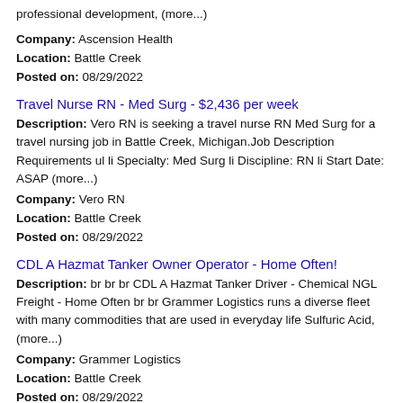professional development, (more...)
Company: Ascension Health
Location: Battle Creek
Posted on: 08/29/2022
Travel Nurse RN - Med Surg - $2,436 per week
Description: Vero RN is seeking a travel nurse RN Med Surg for a travel nursing job in Battle Creek, Michigan.Job Description Requirements ul li Specialty: Med Surg li Discipline: RN li Start Date: ASAP (more...)
Company: Vero RN
Location: Battle Creek
Posted on: 08/29/2022
CDL A Hazmat Tanker Owner Operator - Home Often!
Description: br br br CDL A Hazmat Tanker Driver - Chemical NGL Freight - Home Often br br Grammer Logistics runs a diverse fleet with many commodities that are used in everyday life Sulfuric Acid, (more...)
Company: Grammer Logistics
Location: Battle Creek
Posted on: 08/29/2022